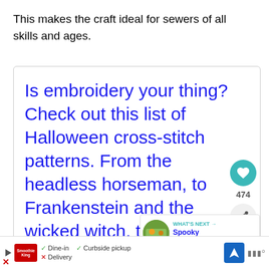This makes the craft ideal for sewers of all skills and ages.
Is embroidery your thing? Check out this list of Halloween cross-stitch patterns. From the headless horseman, to Frankenstein and the wicked witch, there is one
474
[Figure (infographic): What's Next card showing a thumbnail of Halloween decoration with text 'WHAT'S NEXT → Spooky Halloween...']
[Figure (infographic): Ad bar showing Smoothie King logo with dine-in, curbside pickup options, navigation icon and audio bars]